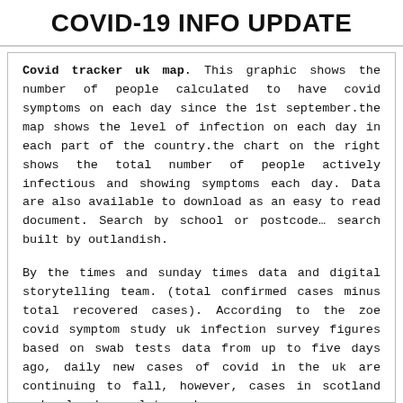COVID-19 INFO UPDATE
Covid tracker uk map. This graphic shows the number of people calculated to have covid symptoms on each day since the 1st september.the map shows the level of infection on each day in each part of the country.the chart on the right shows the total number of people actively infectious and showing symptoms each day. Data are also available to download as an easy to read document. Search by school or postcode… search built by outlandish.
By the times and sunday times data and digital storytelling team. (total confirmed cases minus total recovered cases). According to the zoe covid symptom study uk infection survey figures based on swab tests data from up to five days ago, daily new cases of covid in the uk are continuing to fall, however, cases in scotland and wales have plateaued.
Visualisation of the second wave of covid in the uk. You can click on an area on the map to see the current